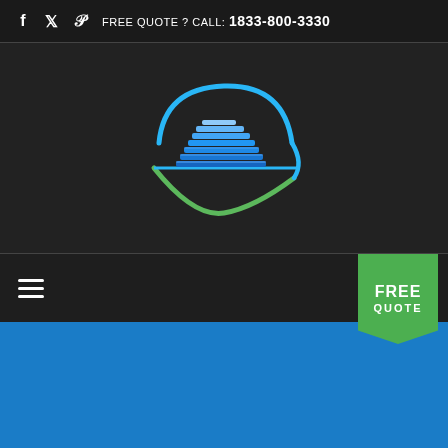FREE QUOTE ? CALL: 1833-800-3330
[Figure (logo): Company logo with stylized layered building/structure in blue, enclosed in a blue and green elliptical swoosh on dark background]
FREE QUOTE